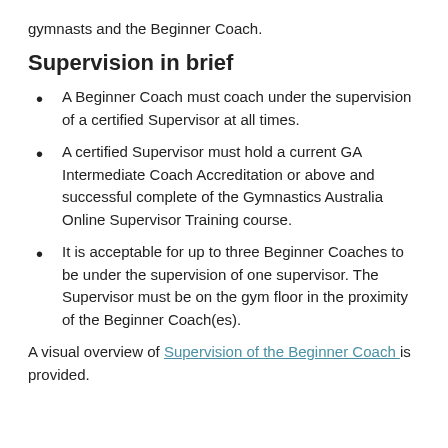gymnasts and the Beginner Coach.
Supervision in brief
A Beginner Coach must coach under the supervision of a certified Supervisor at all times.
A certified Supervisor must hold a current GA Intermediate Coach Accreditation or above and successful complete of the Gymnastics Australia Online Supervisor Training course.
It is acceptable for up to three Beginner Coaches to be under the supervision of one supervisor. The Supervisor must be on the gym floor in the proximity of the Beginner Coach(es).
A visual overview of Supervision of the Beginner Coach is provided.